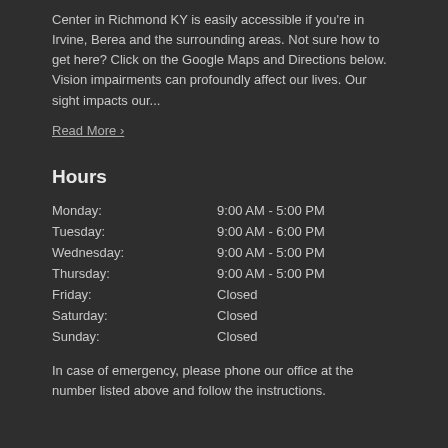Center in Richmond KY is easily accessible if you're in Irvine, Berea and the surrounding areas. Not sure how to get here? Click on the Google Maps and Directions below. Vision impairments can profoundly affect our lives. Our sight impacts our...
Read More ›
Hours
| Day | Hours |
| --- | --- |
| Monday: | 9:00 AM - 5:00 PM |
| Tuesday: | 9:00 AM - 6:00 PM |
| Wednesday: | 9:00 AM - 5:00 PM |
| Thursday: | 9:00 AM - 5:00 PM |
| Friday: | Closed |
| Saturday: | Closed |
| Sunday: | Closed |
In case of emergency, please phone our office at the number listed above and follow the instructions.